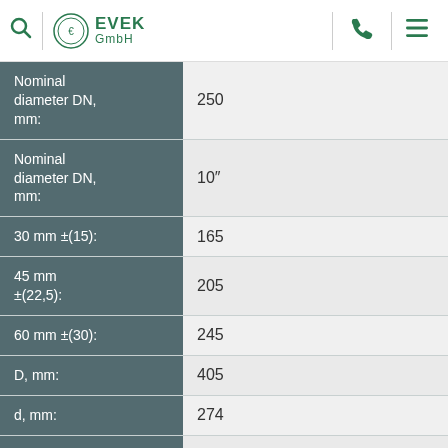EVEK GmbH
| Property | Value |
| --- | --- |
| Nominal diameter DN, mm: | 250 |
| Nominal diameter DN, mm: | 10″ |
| 30 mm ±(15): | 165 |
| 45 mm ±(22,5): | 205 |
| 60 mm ±(30): | 245 |
| D, mm: | 405 |
| d, mm: | 274 |
| k, mm: | 355 |
| b, mm: | 26 |